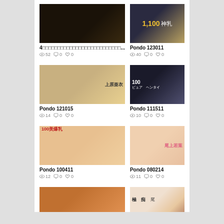[Figure (photo): Thumbnail image 1 - dark bedroom scene]
[Figure (photo): Thumbnail image 2 - text overlay 1,100 神乳]
4□□□□□□□□□□□□□□□□□□□□□□□□□□...
Pondo 123011
👁 52  💬 0  ♥ 0
👁 40  💬 0  ♥ 0
[Figure (photo): Thumbnail image 3 - 上原亜衣 150]
[Figure (photo): Thumbnail image 4 - 100 ピュア ヘンタイ]
Pondo 121015
Pondo 111511
👁 14  💬 0  ♥ 0
👁 10  💬 0  ♥ 0
[Figure (photo): Thumbnail image 5 - 100美爆乳]
[Figure (photo): Thumbnail image 6 - 尾上若葉]
Pondo 100411
Pondo 080214
👁 12  💬 0  ♥ 0
👁 11  💬 0  ♥ 0
[Figure (photo): Thumbnail image 7 - partially visible]
[Figure (photo): Thumbnail image 8 - 極 痴 尾 partially visible]